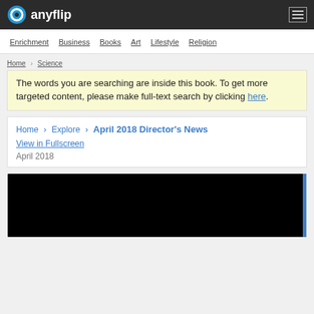anyflip
Enrichment
Business
Books
Art
Lifestyle
Religion
Home > Science
The words you are searching are inside this book. To get more targeted content, please make full-text search by clicking here.
Home > Explore > April 2018 Director's News
View in Fullscreen
April 2018
[Figure (screenshot): Black preview area of a flipbook]